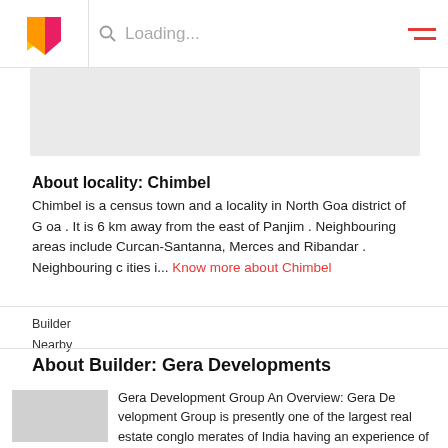Loading...
[Figure (photo): Grey placeholder image area]
About locality: Chimbel
Chimbel is a census town and a locality in North Goa district of Goa . It is 6 km away from the east of Panjim . Neighbouring areas include Curcan-Santanna, Merces and Ribandar . Neighbouring cities i... Know more about Chimbel
Builder
Nearby
About Builder: Gera Developments
[Figure (logo): Gera Developments logo placeholder (grey box)]
Gera Development Group An Overview: Gera Development Group is presently one of the largest real estate conglomerates of India having an experience of almost the past five decades. Established in the year 1970, Gera Development Group is mainly responsible... company is presently at t... our are under construction. The company which develops and building...
Get Callback